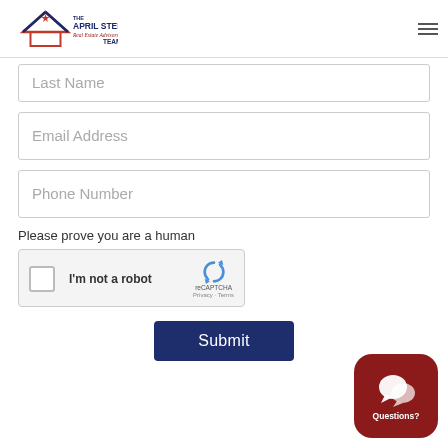[Figure (logo): The April Stephens Real Estate Advisors Team logo with house icon]
Last Name
Email Address
Phone Number
Please prove you are a human
[Figure (other): reCAPTCHA widget with 'I'm not a robot' checkbox, reCAPTCHA logo, Privacy and Terms links]
Submit
[Figure (other): Questions? chat button (dark red rounded square with speech bubble icon)]